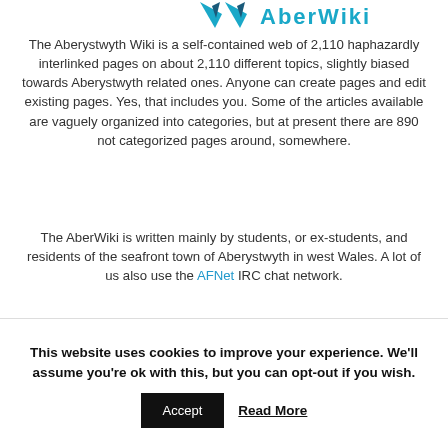[Figure (logo): AberWiki logo — partial view showing blue bird-like icon and stylized text at top of page]
The Aberystwyth Wiki is a self-contained web of 2,110 haphazardly interlinked pages on about 2,110 different topics, slightly biased towards Aberystwyth related ones. Anyone can create pages and edit existing pages. Yes, that includes you. Some of the articles available are vaguely organized into categories, but at present there are 890 not categorized pages around, somewhere.
The AberWiki is written mainly by students, or ex-students, and residents of the seafront town of Aberystwyth in west Wales. A lot of us also use the AFNet IRC chat network.
Caution: The contents of the AberWiki may offend and disgust
This website uses cookies to improve your experience. We'll assume you're ok with this, but you can opt-out if you wish.